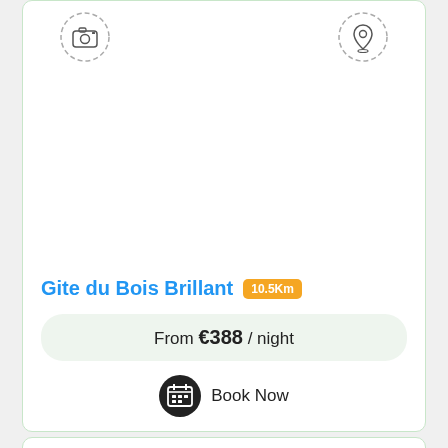[Figure (screenshot): Listing card for 'Gite du Bois Brillant' with camera and location placeholder icons at top, property image area (white), title in blue with orange 10.5Km badge, green price bar 'From €388 / night', and Book Now button with calendar icon.]
Gite du Bois Brillant 10.5Km
From €388 / night
Book Now
[Figure (screenshot): Second listing card (partial) with camera and location placeholder icons at top.]